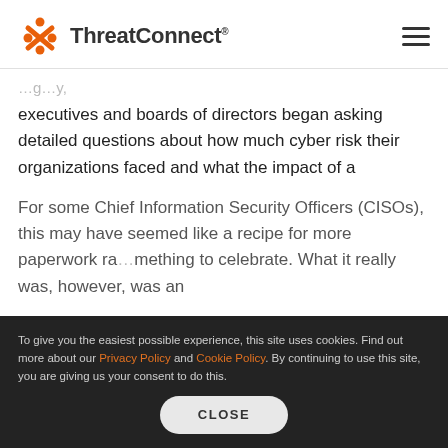ThreatConnect
executives and boards of directors began asking detailed questions about how much cyber risk their organizations faced and what the impact of a successful cyber attack would look like for their businesses. This put a premium on learning how to communicate cyber risk.
For some Chief Information Security Officers (CISOs), this may have seemed like a recipe for more paperwork ra... something to celebrate. What it really was, however, was an
To give you the easiest possible experience, this site uses cookies. Find out more about our Privacy Policy and Cookie Policy. By continuing to use this site, you are giving us your consent to do this.
CLOSE